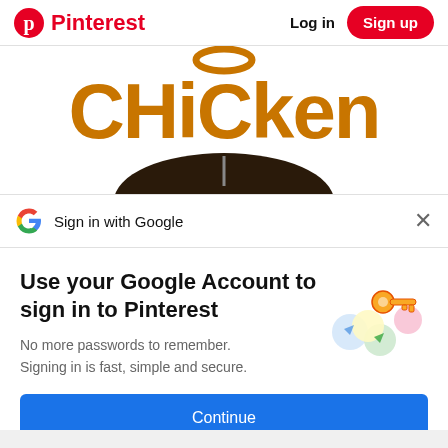Pinterest  Log in  Sign up
[Figure (photo): Chick-fil-A style 'Chicken' text logo in orange with a stylized C and orange loop above, with a partially visible dark bowl or food container at the bottom]
Sign in with Google
Use your Google Account to sign in to Pinterest
No more passwords to remember. Signing in is fast, simple and secure.
[Figure (illustration): Google key illustration with colorful circles and a golden key, representing Google account security]
Continue